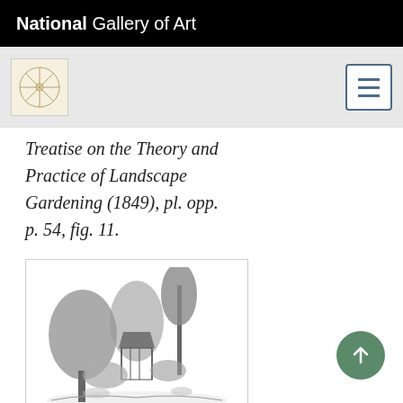National Gallery of Art
Treatise on the Theory and Practice of Landscape Gardening (1849), pl. opp. p. 54, fig. 11.
[Figure (illustration): Black and white engraving of a garden scene with trees, a gazebo or rustic structure, and lush foliage. Caption reads: View in the Grounds of James Arnold, Esq.]
Anonymous, "View in the